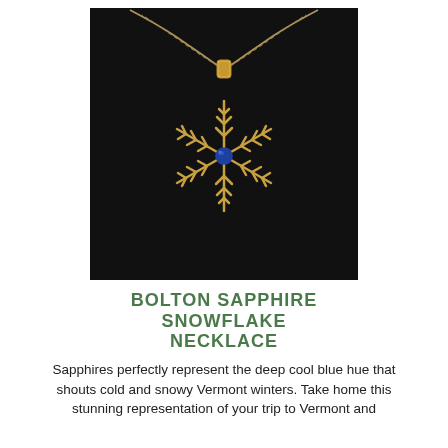[Figure (photo): Photo of a gold snowflake pendant necklace with a blue sapphire center stone, displayed on a dark black background with a gold chain visible above.]
BOLTON SAPPHIRE SNOWFLAKE NECKLACE
Sapphires perfectly represent the deep cool blue hue that shouts cold and snowy Vermont winters. Take home this stunning representation of your trip to Vermont and